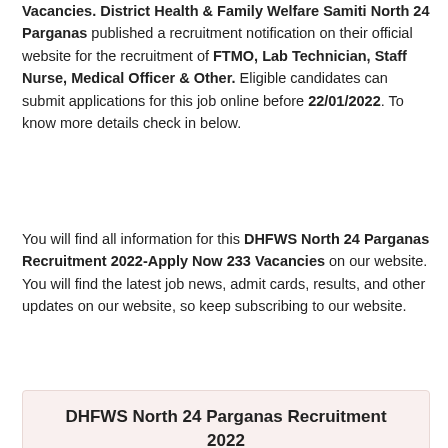Vacancies. District Health & Family Welfare Samiti North 24 Parganas published a recruitment notification on their official website for the recruitment of FTMO, Lab Technician, Staff Nurse, Medical Officer & Other. Eligible candidates can submit applications for this job online before 22/01/2022. To know more details check in below.
You will find all information for this DHFWS North 24 Parganas Recruitment 2022-Apply Now 233 Vacancies on our website. You will find the latest job news, admit cards, results, and other updates on our website, so keep subscribing to our website.
DHFWS North 24 Parganas Recruitment 2022